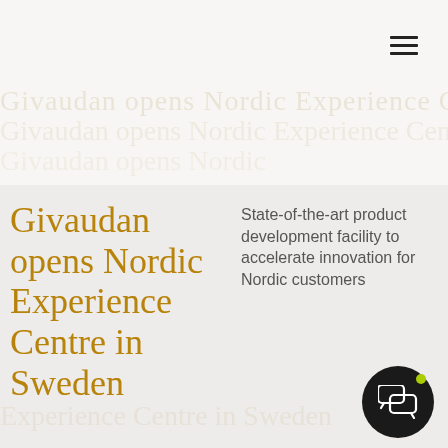[Figure (illustration): Hamburger/menu icon (three horizontal lines) in top-right corner of page header area]
Givaudan opens Nordic Experience Centre in Sweden
State-of-the-art product development facility to accelerate innovation for Nordic customers
[Figure (illustration): Dark circular chat/message button with green notification dot in bottom-right corner]